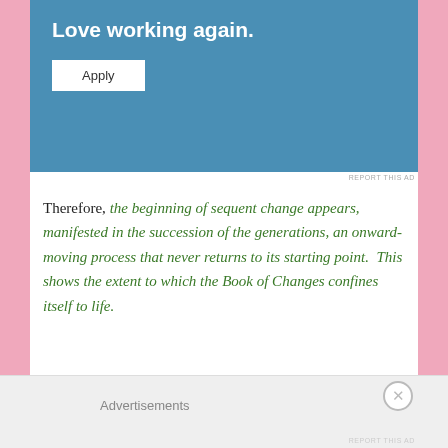[Figure (other): Advertisement banner with blue background showing 'Love working again.' headline and an Apply button]
Therefore, the beginning of sequent change appears, manifested in the succession of the generations, an onward-moving process that never returns to its starting point.  This shows the extent to which the Book of Changes confines itself to life.
Advertisements